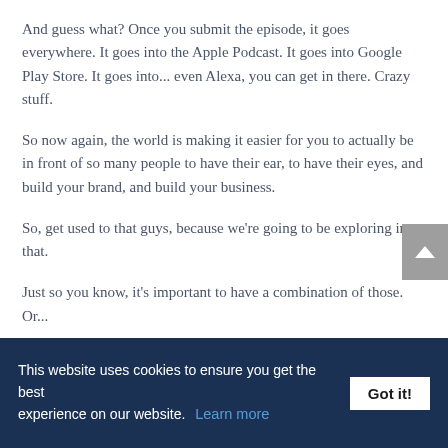And guess what? Once you submit the episode, it goes everywhere. It goes into the Apple Podcast. It goes into Google Play Store. It goes into... even Alexa, you can get in there. Crazy stuff.
So now again, the world is making it easier for you to actually be in front of so many people to have their ear, to have their eyes, and build your brand, and build your business.
So, get used to that guys, because we're going to be exploring into that.
Just so you know, it's important to have a combination of those. Or...
This website uses cookies to ensure you get the best experience on our website. Learn more  Got it!